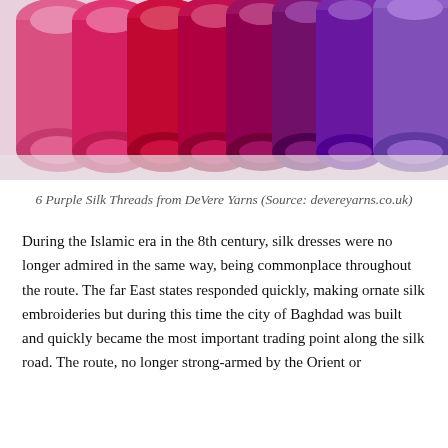[Figure (photo): Photograph of multiple spools of silk thread in shades ranging from pink to red to magenta to purple to lavender, arranged in a row. Labels visible on spools include 'No. 6135', 'Tropic', 'No. 6238', 'Pompadour', 'PURE Buddleia', 'Flomis', 'Hamble', 'Lavender'.]
6 Purple Silk Threads from DeVere Yarns (Source: devereyarns.co.uk)
During the Islamic era in the 8th century, silk dresses were no longer admired in the same way, being commonplace throughout the route. The far East states responded quickly, making ornate silk embroideries but during this time the city of Baghdad was built and quickly became the most important trading point along the silk road. The route, no longer strong-armed by the Orient or